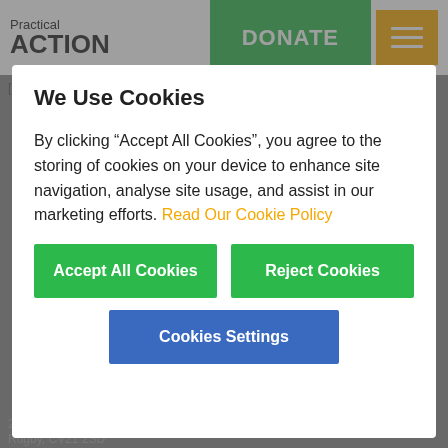[Figure (logo): Practical Action logo with text 'Practical' above 'ACTION' in bold, plus green DONATE button and orange hamburger menu button]
[instagram-feed]
We Use Cookies
By clicking “Accept All Cookies”, you agree to the storing of cookies on your device to enhance site navigation, analyse site usage, and assist in our marketing efforts. Read Our Cookie Policy
Accept All Cookies
Reject Cookies
Cookies Settings
25 Albert Street
Rugby, CV21 2SD